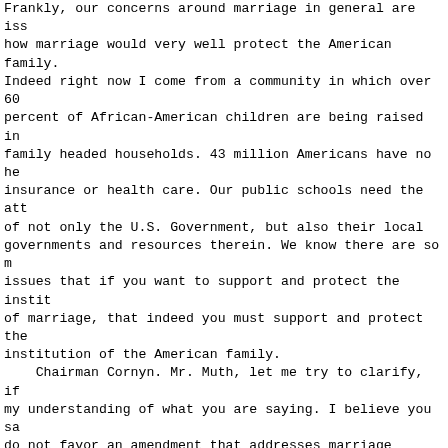Frankly, our concerns around marriage in general are iss how marriage would very well protect the American family. Indeed right now I come from a community in which over 60 percent of African-American children are being raised in family headed households. 43 million Americans have no he insurance or health care. Our public schools need the att of not only the U.S. Government, but also their local governments and resources therein. We know there are so m issues that if you want to support and protect the instit of marriage, that indeed you must support and protect the institution of the American family.
    Chairman Cornyn. Mr. Muth, let me try to clarify, if my understanding of what you are saying. I believe you sa do not favor an amendment that addresses marriage specif but as I understand it, you are very concerned about judi activism; is that correct?
    Mr. Muth. That is correct, Senator.
    Chairman Cornyn. Are there any circumstances under wh you would support, any language you would support for a constitutional amendment which would address judicial act
    Mr. Muth. That is interesting. It is my understanding Senator Hatch may have drafted language which would be-- still have an objection. I have a concern about amending Constitution. Let that be said. But if I understand corre Senator Hatch's proposal for this would simply be to almo super-DOMA, to codify the fact that the States have the r to either recognize or not recognize gay marriages individually, rather than establishing a national prohibi against same-sex marriage. And of the choice between thos I would absolutely favor one that protects the States' ri to recognize gay marriage or not recognize it, rather the